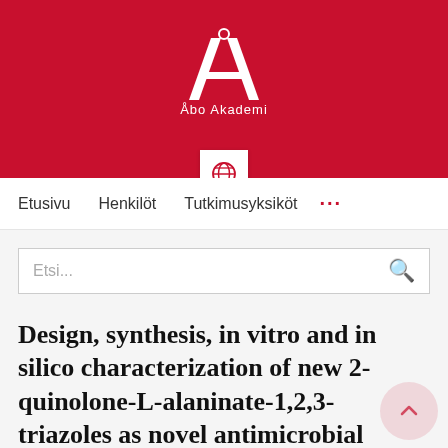[Figure (logo): Åbo Akademi university logo — white stylized letter A with circle on red background, with text 'Åbo Akademi' below]
Etusivu   Henkilöt   Tutkimusyksiköt   ...
Etsi...
Design, synthesis, in vitro and in silico characterization of new 2-quinolone-L-alaninate-1,2,3-triazoles as novel antimicrobial agents